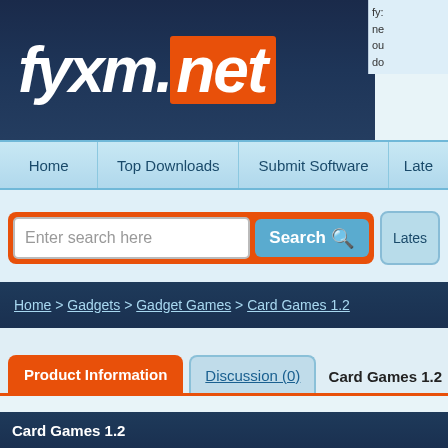[Figure (screenshot): fyxm.net website screenshot showing partially visible text in top right corner]
[Figure (logo): fyxm.net logo on dark navy banner — white italic 'fyxm.' with orange background '.net']
Home | Top Downloads | Submit Software | Late...
Enter search here
Search
Lates
Home > Gadgets > Gadget Games > Card Games 1.2
Product Information
Discussion (0)
Card Games 1.2
Card Games 1.2